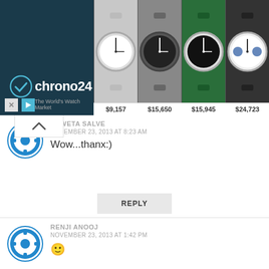[Figure (screenshot): Chrono24 advertisement banner showing logo and four watch listings priced at $9,157, $15,650, $15,945, and $24,723]
SHWETA SALVE
NOVEMBER 23, 2013 AT 8:23 AM
Wow...thanx:)
REPLY
RENJI ANOOJ
NOVEMBER 23, 2013 AT 1:42 PM
🙂
REPLY
GARIMA@COSMOCHICS
NOVEMBER 23, 2013 AT 11:23 AM